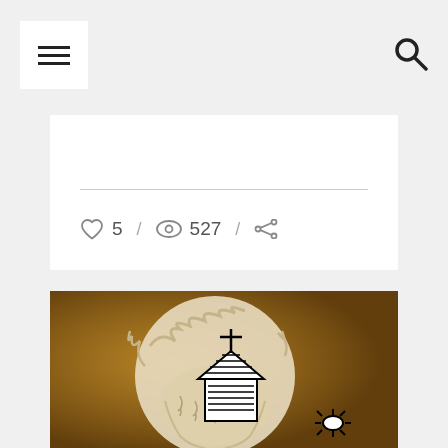Navigation header with hamburger menu and search icon
5 / 527 / share
[Figure (photo): Photo of a marble statue head with curly hair and beard, overlaid with a hand-drawn sketch of a church with a cross on top and a sun icon on the right, set against a warm brown/golden background.]